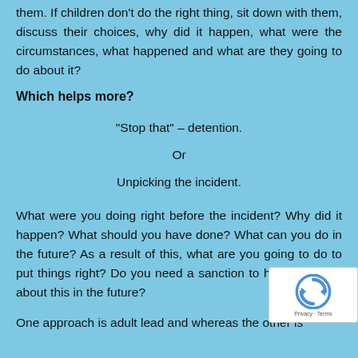them. If children don't do the right thing, sit down with them, discuss their choices, why did it happen, what were the circumstances, what happened and what are they going to do about it?
Which helps more?
“Stop that” – detention.
Or
Unpicking the incident.
What were you doing right before the incident? Why did it happen? What should you have done? What can you do in the future? As a result of this, what are you going to do to put things right? Do you need a sanction to help you think about this in the future?
One approach is adult lead and whereas the other is